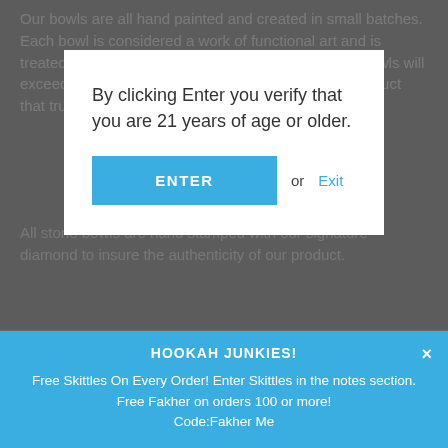Our bowls are all hand painted and created in small batches. Each bowl is considered a work of functional art and is treated as such as it is being made. Stone Hookah Bowls will exceed your expectations by providing you with a product that truly is the PINNACLE of hookah bowls.
By clicking Enter you verify that you are 21 years of age or older.
ENTER or Exit
All stone bowls are hand stamped with our signature diamond to insure the authenticity of our product.
HOOKAH JUNKIES!
Free Skittles On Every Order! Enter Skittles in the notes section. Free Fakher on orders 100 or more!
Code:Fakher Me